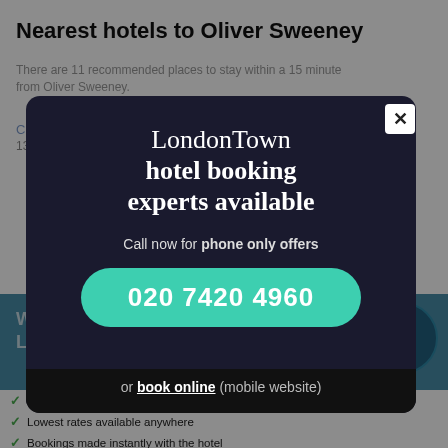Nearest hotels to Oliver Sweeney
There are 11 recommended places to stay within a 15 minute from Oliver Sweeney.
Courthouse Hotel Shoreditch
13 minutes
[Figure (screenshot): LondonTown hotel booking modal overlay on a dark background with teal phone button showing 020 7420 4960]
Why our LondonT...
Connect live to hotels' reservation system
Lowest rates available anywhere
Bookings made instantly with the hotel